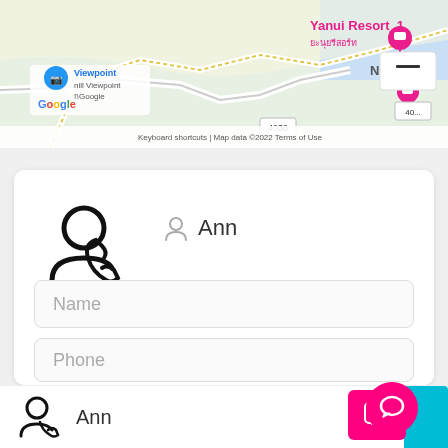[Figure (screenshot): Google Maps screenshot showing Yanui Resort, Navatara, and Viewpoint Hill Viewpoint near a coastal area in Thailand. Map data 2022.]
[Figure (screenshot): Mobile app UI card with large user/phone icon, Ann label with person icon, Name input field, and Phone input field]
Ann
Name
Phone
[Figure (screenshot): Bottom navigation bar with user/phone icon, Ann text, and pink chat bubble button with teal background element]